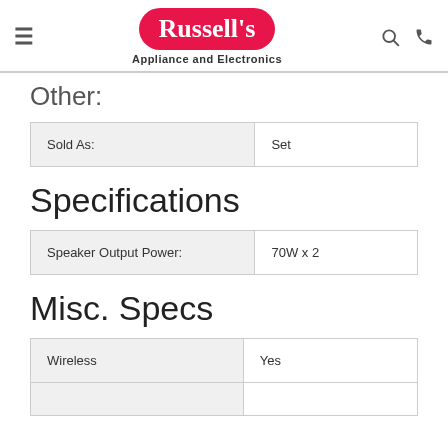Russell's Appliance and Electronics
Other:
| Sold As: | Set |
| --- | --- |
| Sold As: | Set |
Specifications
| Speaker Output Power: | 70W x 2 |
| --- | --- |
| Speaker Output Power: | 70W x 2 |
Misc. Specs
| Wireless | Yes |
| --- | --- |
| Wireless | Yes |
|  |  |